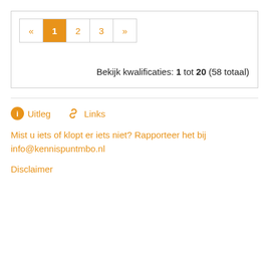[Figure (other): Pagination control with buttons: «, 1 (active/orange), 2, 3, »]
Bekijk kwalificaties: 1 tot 20 (58 totaal)
ℹ Uitleg   🔗 Links
Mist u iets of klopt er iets niet? Rapporteer het bij info@kennispuntmbo.nl
Disclaimer